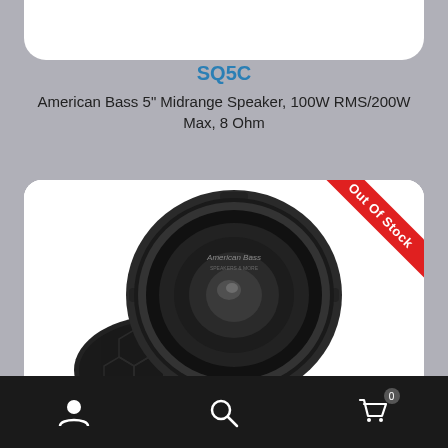SQ5C
American Bass 5" Midrange Speaker, 100W RMS/200W Max, 8 Ohm
[Figure (photo): American Bass 5 inch midrange speaker product photo showing black speaker with honeycomb grille, with an Out Of Stock ribbon banner in the top right corner]
Navigation bar with user icon, search icon, and cart icon showing 0 items